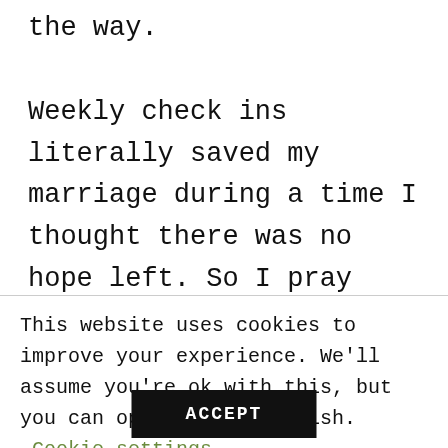the way. Weekly check ins literally saved my marriage during a time I thought there was no hope left. So I pray this information can be useful to you or someone you may know.
This website uses cookies to improve your experience. We'll assume you're ok with this, but you can opt-out if you wish. Cookie settings
ACCEPT